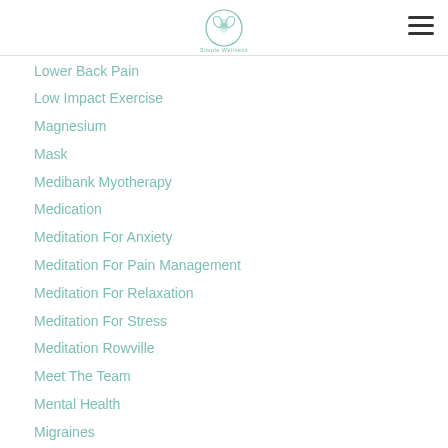Simple Wellness
Lower Back Pain
Low Impact Exercise
Magnesium
Mask
Medibank Myotherapy
Medication
Meditation For Anxiety
Meditation For Pain Management
Meditation For Relaxation
Meditation For Stress
Meditation Rowville
Meet The Team
Mental Health
Migraines
Mindfulness Rowville
Morning Pain
MRI